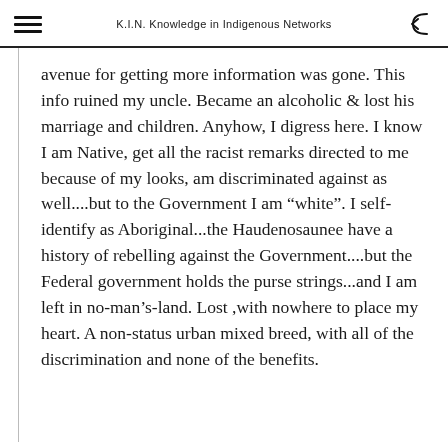K.I.N. Knowledge in Indigenous Networks
avenue for getting more information was gone. This info ruined my uncle. Became an alcoholic & lost his marriage and children. Anyhow, I digress here. I know I am Native, get all the racist remarks directed to me because of my looks, am discriminated against as well....but to the Government I am “white”. I self-identify as Aboriginal...the Haudenosaunee have a history of rebelling against the Government....but the Federal government holds the purse strings...and I am left in no-man’s-land. Lost ,with nowhere to place my heart. A non-status urban mixed breed, with all of the discrimination and none of the benefits.